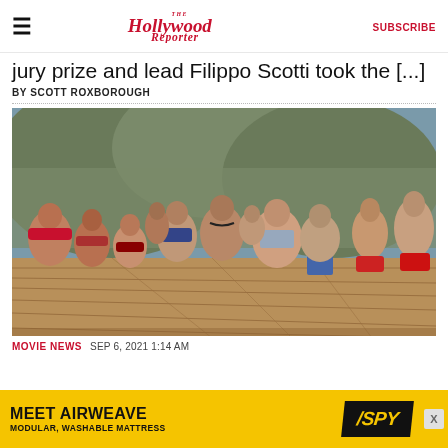The Hollywood Reporter | SUBSCRIBE
jury prize and lead Filippo Scotti took the [...]
BY SCOTT ROXBOROUGH
[Figure (photo): Group of people sitting on the deck of a boat near coastal cliffs. Multiple adults in swimwear seated in two rows facing each other on wooden boat deck with rocky cliffs and blue water in background.]
MOVIE NEWS   SEP 6, 2021 1:14 AM
[Figure (other): Advertisement banner: MEET AIRWEAVE - MODULAR, WASHABLE MATTRESS with SPY logo]